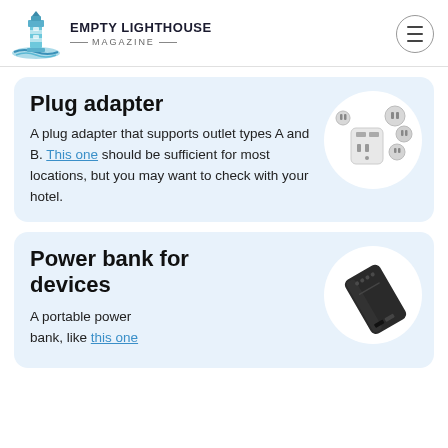EMPTY LIGHTHOUSE MAGAZINE
Plug adapter
A plug adapter that supports outlet types A and B. This one should be sufficient for most locations, but you may want to check with your hotel.
[Figure (photo): Photo of a universal plug adapter with multiple international outlet attachments, shown on a white circular background.]
Power bank for devices
A portable power bank, like this one
[Figure (photo): Photo of a black portable power bank shown on a white circular background.]